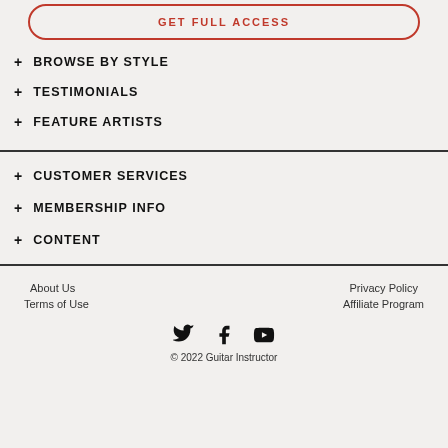GET FULL ACCESS
+ BROWSE BY STYLE
+ TESTIMONIALS
+ FEATURE ARTISTS
+ CUSTOMER SERVICES
+ MEMBERSHIP INFO
+ CONTENT
About Us   Privacy Policy   Terms of Use   Affiliate Program
[Figure (illustration): Social media icons: Twitter, Facebook, YouTube]
© 2022 Guitar Instructor